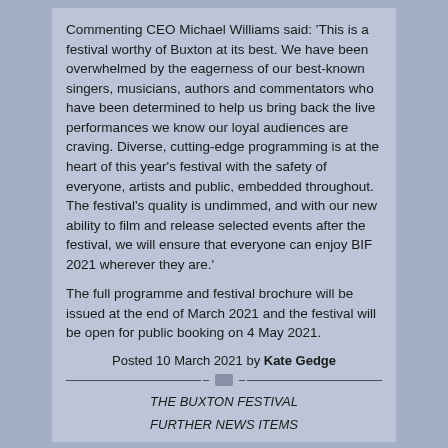Commenting CEO Michael Williams said: 'This is a festival worthy of Buxton at its best. We have been overwhelmed by the eagerness of our best-known singers, musicians, authors and commentators who have been determined to help us bring back the live performances we know our loyal audiences are craving. Diverse, cutting-edge programming is at the heart of this year's festival with the safety of everyone, artists and public, embedded throughout. The festival's quality is undimmed, and with our new ability to film and release selected events after the festival, we will ensure that everyone can enjoy BIF 2021 wherever they are.'
The full programme and festival brochure will be issued at the end of March 2021 and the festival will be open for public booking on 4 May 2021.
Posted 10 March 2021 by Kate Gedge
THE BUXTON FESTIVAL
FURTHER NEWS ITEMS